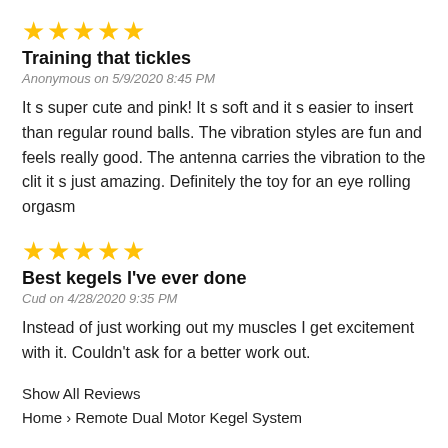[Figure (other): 5 gold stars rating]
Training that tickles
Anonymous on 5/9/2020 8:45 PM
It s super cute and pink! It s soft and it s easier to insert than regular round balls. The vibration styles are fun and feels really good. The antenna carries the vibration to the clit it s just amazing. Definitely the toy for an eye rolling orgasm
[Figure (other): 5 gold stars rating]
Best kegels I've ever done
Cud on 4/28/2020 9:35 PM
Instead of just working out my muscles I get excitement with it. Couldn't ask for a better work out.
Show All Reviews
Home › Remote Dual Motor Kegel System